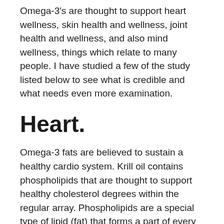Omega-3's are thought to support heart wellness, skin health and wellness, joint health and wellness, and also mind wellness, things which relate to many people. I have studied a few of the study listed below to see what is credible and what needs even more examination.
Heart.
Omega-3 fats are believed to sustain a healthy cardio system. Krill oil contains phospholipids that are thought to support healthy cholesterol degrees within the regular array. Phospholipids are a special type of lipid (fat) that forms a part of every cell membrane and also helps to regulate